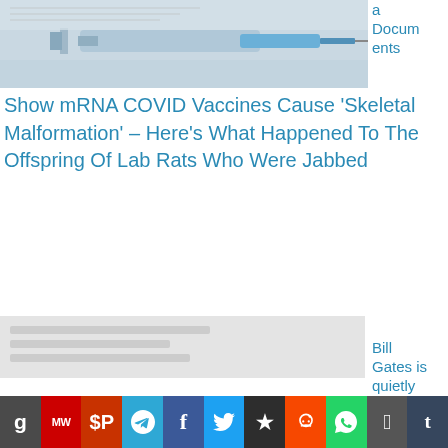[Figure (photo): Photo of a syringe/vaccine needle against a blurred background]
a Documents Show mRNA COVID Vaccines Cause ‘Skeletal Malformation’ – Here’s What Happened To The Offspring Of Lab Rats Who Were Jabbed
[Figure (photo): Placeholder image for second article]
Bill Gates is quietly carrying out a sinister plan to force you to eat Fake Meat
World in the
[Figure (infographic): Social media share bar with icons: Gab, MeWe, Parler, Telegram, Facebook, Twitter, Steemin, Reddit, WhatsApp, Apple, Tumblr]